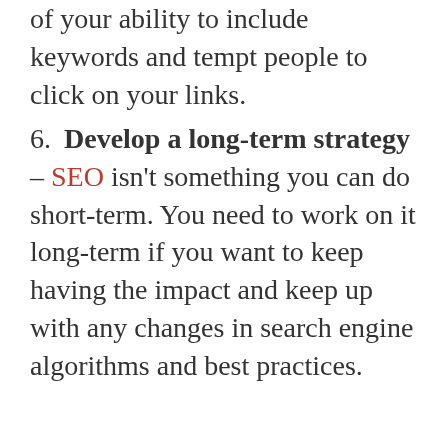of your ability to include keywords and tempt people to click on your links.
6. Develop a long-term strategy – SEO isn't something you can do short-term. You need to work on it long-term if you want to keep having the impact and keep up with any changes in search engine algorithms and best practices.
We use cookies on our website to give you the most relevant experience by remembering your preferences and repeat visits. By clicking "Accept", you consent to the use of ALL the cookies. However you may visit Cookie Settings to provide a controlled consent.
Cookie settings
ACCEPT